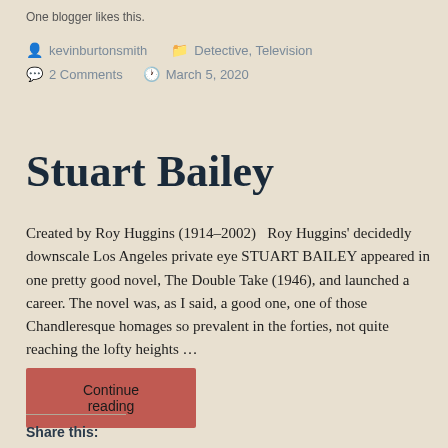One blogger likes this.
kevinburtonsmith   Detective, Television
2 Comments   March 5, 2020
Stuart Bailey
Created by Roy Huggins (1914-2002)    Roy Huggins' decidedly downscale Los Angeles private eye STUART BAILEY appeared in one pretty good novel, The Double Take (1946), and launched a career. The novel was, as I said, a good one, one of those Chandleresque homages so prevalent in the forties, not quite reaching the lofty heights ...
Continue reading
Share this: